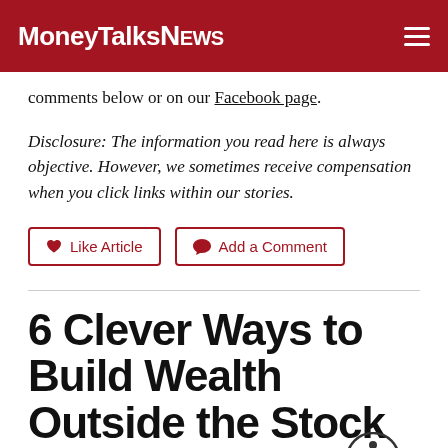MoneyTalksNews
comments below or on our Facebook page.
Disclosure: The information you read here is always objective. However, we sometimes receive compensation when you click links within our stories.
Like Article   Add a Comment
6 Clever Ways to Build Wealth Outside the Stock Market